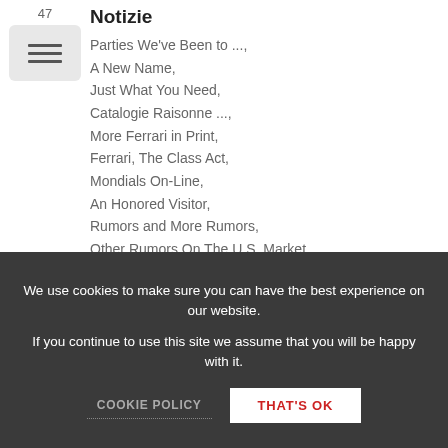47
Notizie
Parties We've Been to ...,
A New Name,
Just What You Need,
Catalogie Raisonne ...,
More Ferrari in Print,
Ferrari, The Class Act,
Mondials On-Line,
An Honored Visitor,
Rumors and More Rumors,
Other Rumors On The U.S. Market,
GTO Dominates Tech Inspection,
We use cookies to make sure you can have the best experience on our website.
If you continue to use this site we assume that you will be happy with it.
COOKIE POLICY  THAT'S OK